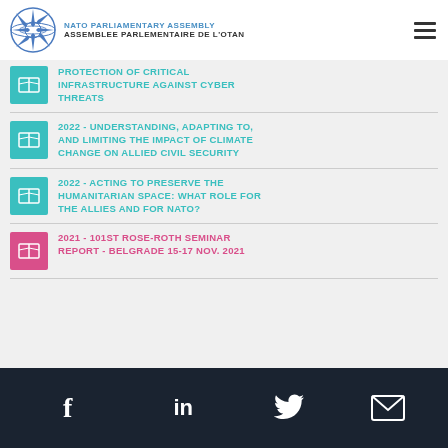NATO PARLIAMENTARY ASSEMBLY / ASSEMBLEE PARLEMENTAIRE DE L'OTAN
PROTECTION OF CRITICAL INFRASTRUCTURE AGAINST CYBER THREATS
2022 - UNDERSTANDING, ADAPTING TO, AND LIMITING THE IMPACT OF CLIMATE CHANGE ON ALLIED CIVIL SECURITY
2022 - ACTING TO PRESERVE THE HUMANITARIAN SPACE: WHAT ROLE FOR THE ALLIES AND FOR NATO?
2021 - 101st ROSE-ROTH SEMINAR REPORT - BELGRADE 15-17 NOV. 2021
Social media links: Facebook, LinkedIn, Twitter, Email